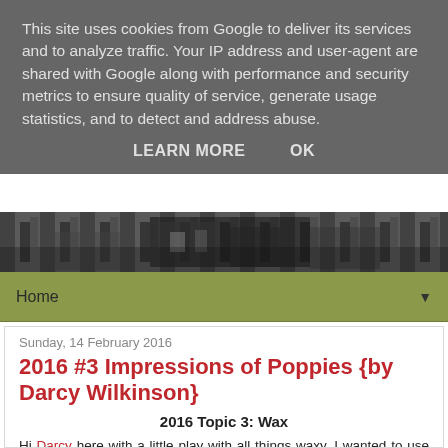This site uses cookies from Google to deliver its services and to analyze traffic. Your IP address and user-agent are shared with Google along with performance and security metrics to ensure quality of service, generate usage statistics, and to detect and address abuse.
LEARN MORE   OK
[Figure (photo): Black and white header banner image showing an architectural or street scene]
Home ▼
Sunday, 14 February 2016
2016 #3 Impressions of Poppies {by Darcy Wilkinson}
2016 Topic 3: Wax
Hi Darcy here with a little play with all things waxy. I wanted to use my new poppy stamp, and felt inspired by the impressionistic paintings of the past. I am always amazed as how blobs and swirls of paint can transform